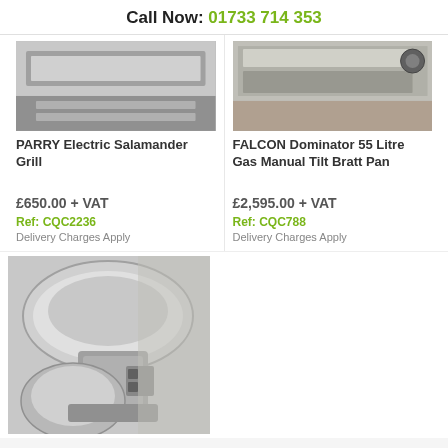Call Now: 01733 714 353
[Figure (photo): PARRY Electric Salamander Grill product photo - stainless steel grill equipment]
PARRY Electric Salamander Grill
£650.00 + VAT
Ref: CQC2236
Delivery Charges Apply
[Figure (photo): FALCON Dominator 55 Litre Gas Manual Tilt Bratt Pan product photo - stainless steel pan equipment]
FALCON Dominator 55 Litre Gas Manual Tilt Bratt Pan
£2,595.00 + VAT
Ref: CQC788
Delivery Charges Apply
[Figure (photo): Commercial tilting bratt pan / mixer equipment with stainless steel bowl, bottom section of product listing page]